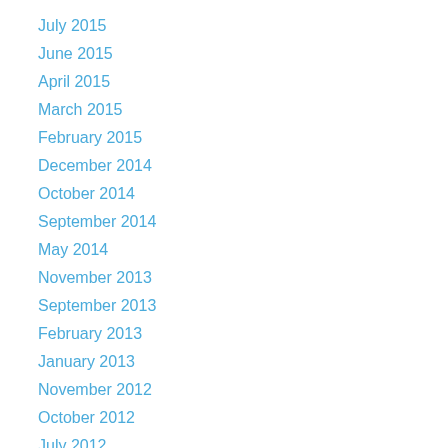July 2015
June 2015
April 2015
March 2015
February 2015
December 2014
October 2014
September 2014
May 2014
November 2013
September 2013
February 2013
January 2013
November 2012
October 2012
July 2012
April 2012
February 2012
November 2011
October 2011